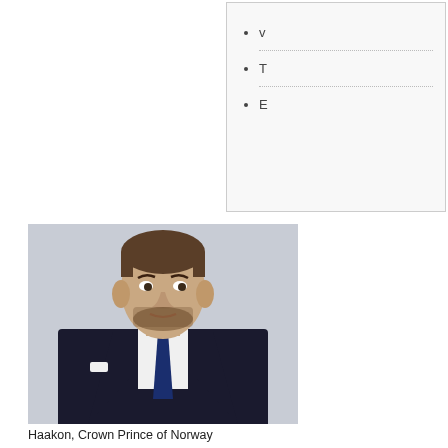[Figure (other): Navigation box with bullet points V, T, E]
[Figure (photo): Portrait photo of Haakon, Crown Prince of Norway, wearing a dark suit and navy tie]
Haakon, Crown Prince of Norway
The line of succession to the Norwegian throne consists of people entitled to become head of state of Norway.
The succession is currently governed by Article 6 of the Constitution, altered most recently in 1990 to introduce absolute primogeniture among the grandchildren and further